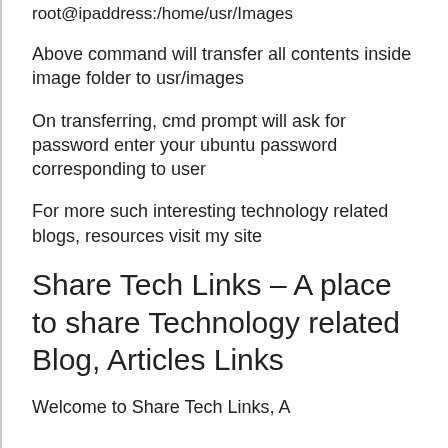root@ipaddress:/home/usr/Images
Above command will transfer all contents inside image folder to usr/images
On transferring, cmd prompt will ask for password enter your ubuntu password corresponding to user
For more such interesting technology related blogs, resources visit my site
Share Tech Links – A place to share Technology related Blog, Articles Links
Welcome to Share Tech Links, A